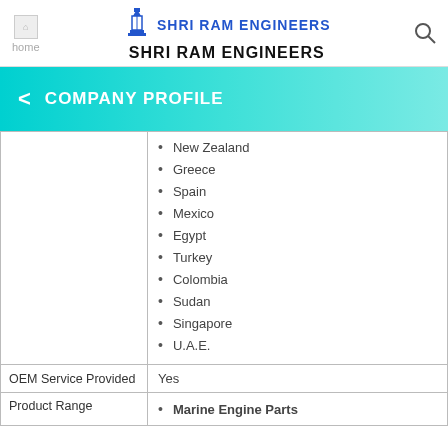home | SHRI RAM ENGINEERS | SHRI RAM ENGINEERS
COMPANY PROFILE
|  |  |
| --- | --- |
|  | New Zealand, Greece, Spain, Mexico, Egypt, Turkey, Colombia, Sudan, Singapore, U.A.E. |
| OEM Service Provided | Yes |
| Product Range | Marine Engine Parts |